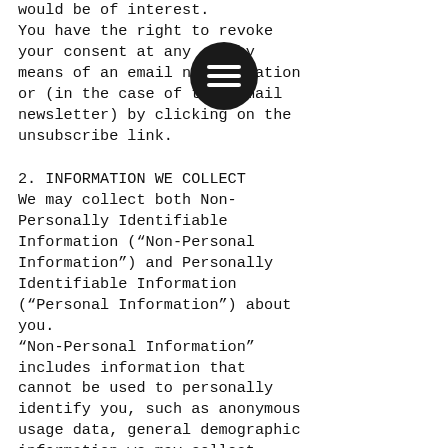would be of interest. You have the right to revoke your consent at any time by means of an email notification or (in the case of the e-mail newsletter) by clicking on the unsubscribe link.
2. INFORMATION WE COLLECT
We may collect both Non-Personally Identifiable Information (“Non-Personal Information”) and Personally Identifiable Information (“Personal Information”) about you. “Non-Personal Information” includes information that cannot be used to personally identify you, such as anonymous usage data, general demographic information we may collect, referring/exit pages and URLs, platform types, preferences you submit and preferences that are generated based on the data you